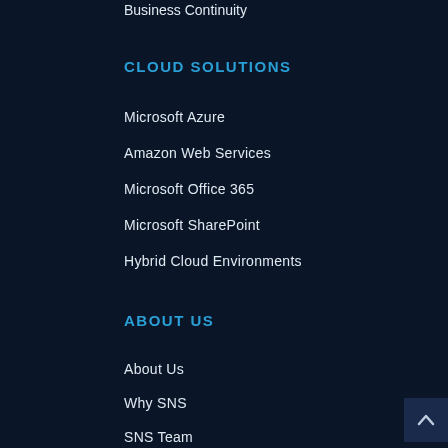Business Continuity
CLOUD SOLUTIONS
Microsoft Azure
Amazon Web Services
Microsoft Office 365
Microsoft SharePoint
Hybrid Cloud Environments
ABOUT US
About Us
Why SNS
SNS Team
Partner Feedback